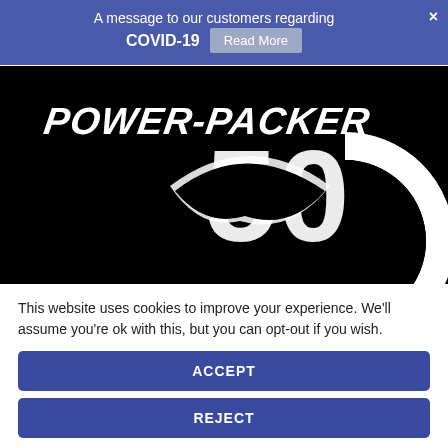A message to our customers regarding COVID-19 Read More ×
[Figure (logo): Power-Packer 50th anniversary / Novation logo on black background]
This website uses cookies to improve your experience. We'll assume you're ok with this, but you can opt-out if you wish.
ACCEPT
REJECT